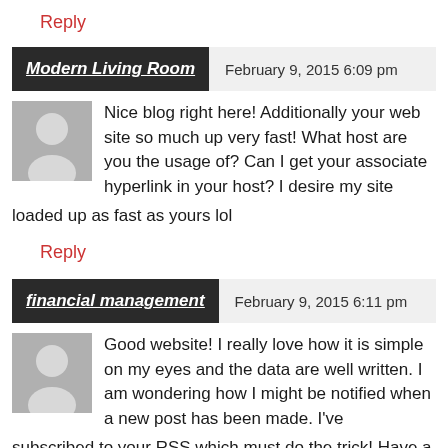Reply
Modern Living Room — February 9, 2015 6:09 pm
Nice blog right here! Additionally your web site so much up very fast! What host are you the usage of? Can I get your associate hyperlink in your host? I desire my site loaded up as fast as yours lol
Reply
financial management — February 9, 2015 6:11 pm
Good website! I really love how it is simple on my eyes and the data are well written. I am wondering how I might be notified when a new post has been made. I've subscribed to your RSS which must do the trick! Have a